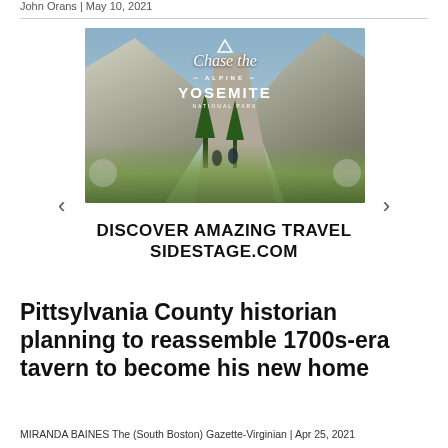John Orans | May 10, 2021
[Figure (photo): Advertisement banner showing Yosemite National Park mountain scenery with two hikers in tall grass. Text overlay reads 'Chase the Alpine — YOSEMITE NATIONAL PARK'. Navigation arrows on left and right. Below: 'DISCOVER AMAZING TRAVEL SIDESTAGE.COM']
Pittsylvania County historian planning to reassemble 1700s-era tavern to become his new home
MIRANDA BAINES The (South Boston) Gazette-Virginian | Apr 25, 2021